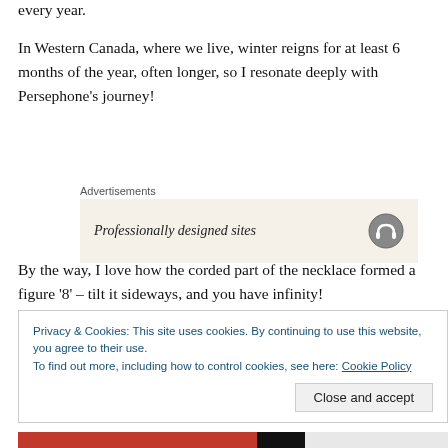every year.
In Western Canada, where we live, winter reigns for at least 6 months of the year, often longer, so I resonate deeply with Persephone's journey!
[Figure (other): Advertisement box with label 'Advertisements' and content 'Professionally designed sites' with a headphone/audio icon on the right, on a beige background]
By the way, I love how the corded part of the necklace formed a figure '8' – tilt it sideways, and you have infinity!
Privacy & Cookies: This site uses cookies. By continuing to use this website, you agree to their use.
To find out more, including how to control cookies, see here: Cookie Policy